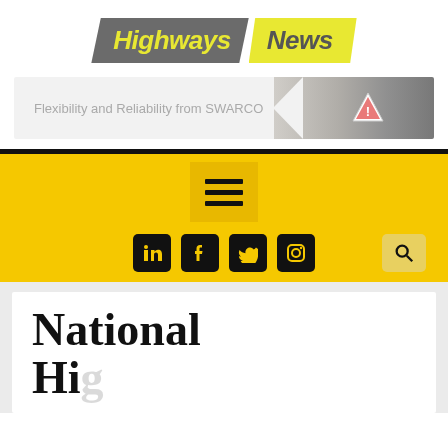[Figure (logo): Highways News logo — 'Highways' in yellow text on dark grey parallelogram, 'News' in grey text on yellow parallelogram]
[Figure (photo): Advertising banner for SWARCO reading 'Flexibility and Reliability from SWARCO' with a road warning sign and construction equipment photo on the right]
[Figure (screenshot): Yellow navigation bar with hamburger menu icon, social media icons (LinkedIn, Facebook, Twitter, Instagram) and a search icon]
National Hi...